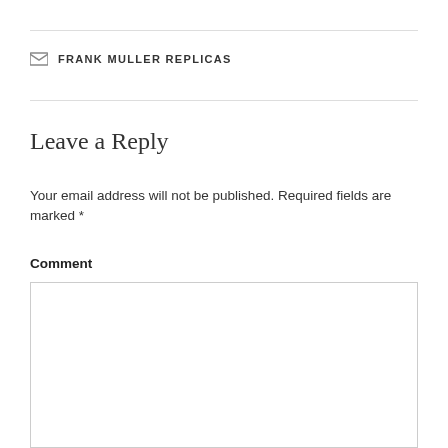FRANK MULLER REPLICAS
Leave a Reply
Your email address will not be published. Required fields are marked *
Comment